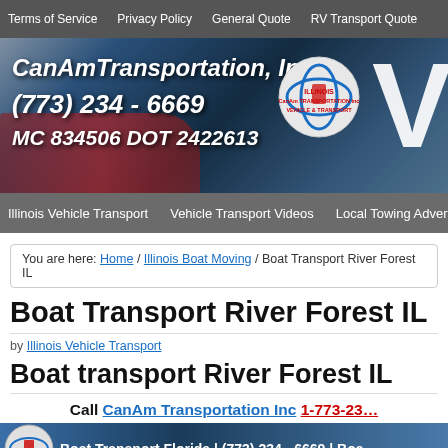Terms of Service | Privacy Policy | General Quote | RV Transport Quote
[Figure (screenshot): CanAm Transportation Inc banner with company name, phone (773) 234-6669, MC 834506 DOT 2422613, logo, and large V letter]
Illinois Vehicle Transport | Vehicle Transport Videos | Local Towing Advertising
You are here: Home / Illinois Boat Moving / Boat Transport River Forest IL
Boat Transport River Forest IL
by Illinois Vehicle Transport
Boat transport River Forest IL
Call CanAm Transportation Inc 1-773-23...
[Figure (screenshot): Bottom banner showing logo and text: Boat Transport Florida | (773) 234 - 6669 | Boa...]